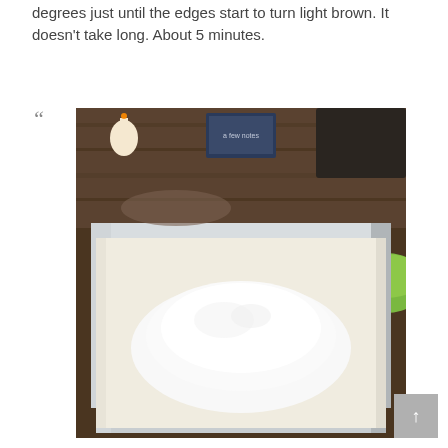degrees just until the edges start to turn light brown. It doesn't take long. About 5 minutes.
[Figure (photo): A metal baking pan lined with parchment paper containing a mound of white flour or powdered ingredient, photographed on a dark wooden countertop. A candle and decorative elements are visible in the background, and a green bowl is partially visible at the right edge.]